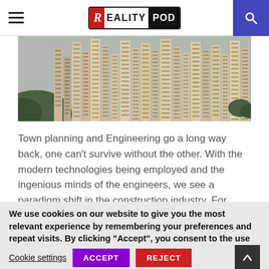RealityPod
[Figure (photo): Aerial view of densely packed high-rise apartment buildings in Hong Kong]
Town planning and Engineering go a long way back, one can't survive without the other. With the modern technologies being employed and the ingenious minds of the engineers, we see a paradigm shift in the construction industry. For instance, instead of covering larger ground
We use cookies on our website to give you the most relevant experience by remembering your preferences and repeat visits. By clicking "Accept", you consent to the use of ALL the cookies.
Do not sell my personal information.
Cookie settings  ACCEPT  REJECT